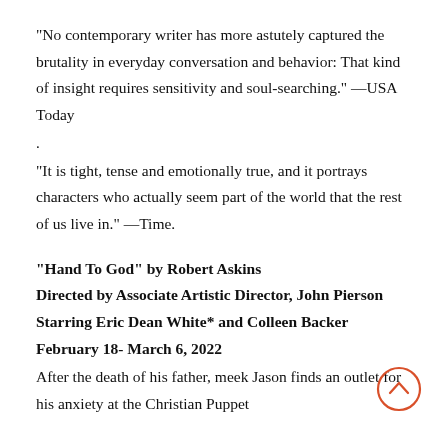“No contemporary writer has more astutely captured the brutality in everyday conversation and behavior: That kind of insight requires sensitivity and soul-searching.” —USA Today
.
“It is tight, tense and emotionally true, and it portrays characters who actually seem part of the world that the rest of us live in.” —Time.
“Hand To God” by Robert Askins
Directed by Associate Artistic Director, John Pierson
Starring Eric Dean White* and Colleen Backer
February 18- March 6, 2022
After the death of his father, meek Jason finds an outlet for his anxiety at the Christian Puppet